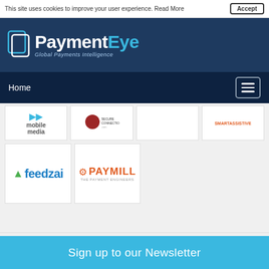This site uses cookies to improve your user experience. Read More
[Figure (logo): PaymentEye - Global Payments Intelligence logo on dark blue background]
Home
[Figure (logo): Grid of company logos including mobile media, Secure Connections, feedzai, and PAYMILL]
Events
FinTech Connect 2019
03 Dec 19 (Event is over)
Sign up to our Newsletter